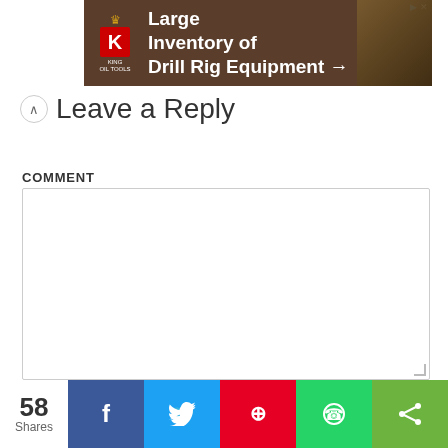[Figure (other): Advertisement banner for King Oil Tools - Large Inventory of Drill Rig Equipment with arrow]
Leave a Reply
COMMENT
[Figure (other): Comment text area input field with resize handle]
[Figure (other): Social share bar with 58 Shares count and buttons for Facebook, Twitter, Pinterest, WhatsApp, and general share]